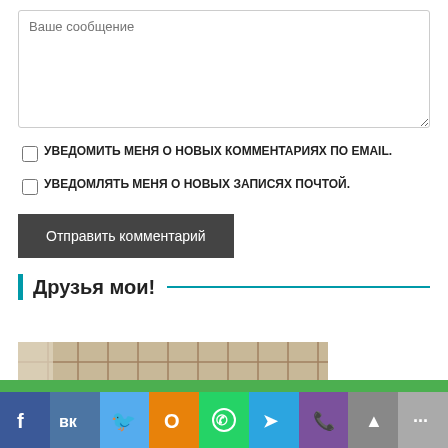Ваше сообщение
УВЕДОМИТЬ МЕНЯ О НОВЫХ КОММЕНТАРИЯХ ПО EMAIL.
УВЕДОМЛЯТЬ МЕНЯ О НОВЫХ ЗАПИСЯХ ПОЧТОЙ.
Отправить комментарий
Друзья мои!
[Figure (photo): Photo of a dark object on a woven/lattice background with beige tones]
[Figure (infographic): Social media sharing bar with icons: Facebook, VK, Twitter, Odnoklassniki, WhatsApp, Telegram, Viber, up-arrow, more]